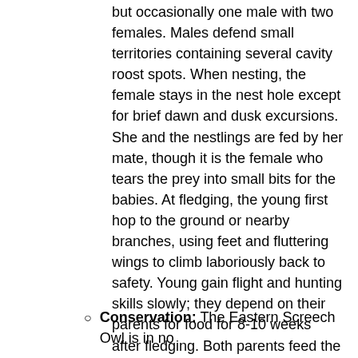but occasionally one male with two females. Males defend small territories containing several cavity roost spots. When nesting, the female stays in the nest hole except for brief dawn and dusk excursions. She and the nestlings are fed by her mate, though it is the female who tears the prey into small bits for the babies. At fledging, the young first hop to the ground or nearby branches, using feet and fluttering wings to climb laboriously back to safety. Young gain flight and hunting skills slowly; they depend on their parents for food for 8-10 weeks after fledging. Both parents feed the youngsters at this stage, and adults, especially the females, shelter together with the young in communal tree roosts. Gradually, as the young gain skill, they begin to roost and hunt apart from their parents and siblings.
Conservation: The Eastern Screech Owl is in no